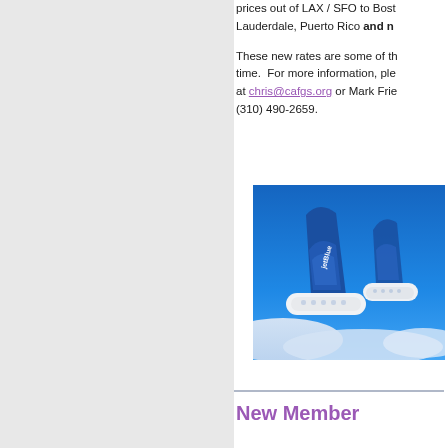prices out of LAX / SFO to Bost... Lauderdale, Puerto Rico and n... These new rates are some of the time. For more information, ple... at chris@cafgs.org or Mark Frie... (310) 490-2659.
[Figure (photo): JetBlue airplane tail fins against a blue sky with clouds below]
New Member